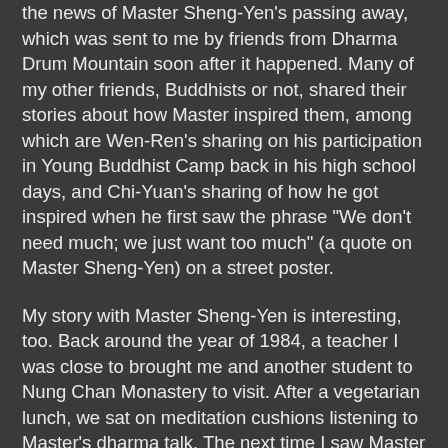the news of Master Sheng-Yen's passing away, which was sent to me by friends from Dharma Drum Mountain soon after it happened. Many of my other friends, Buddhists or not, shared their stories about how Master inspired them, among which are Wen-Ren's sharing on his participation in Young Buddhist Camp back in his high school days, and Chi-Yuan's sharing of how he got inspired when he first saw the phrase "We don't need much; we just want too much" (a quote on Master Sheng-Yen) on a street poster.
My story with Master Sheng-Yen is interesting, too. Back around the year of 1984, a teacher I was close to brought me and another student to Nung Chan Monastery to visit. After a vegetarian lunch, we sat on meditation cushions listening to Master's dharma talk. The next time I saw Master Sheng-Yen was year 2005 in New York City. And in December 2006, I had the priviledge of participating in a 10-day Huatou meditation retreat, led by Master Sheng-Yen. I heard it was the last time he came to the US, due to his health condition. The image of him teaching, so at ease and pease, albeit in great discomfort, is still vivid and inspiring to me today.
The fact that...